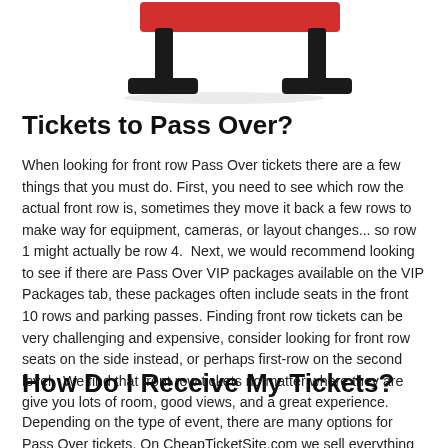[Figure (photo): Partial view of a red and black piece of equipment (appears to be a hurdle or gymnastics bar) photographed from below against a white background.]
Tickets to Pass Over?
When looking for front row Pass Over tickets there are a few things that you must do. First, you need to see which row the actual front row is, sometimes they move it back a few rows to make way for equipment, cameras, or layout changes... so row 1 might actually be row 4.  Next, we would recommend looking to see if there are Pass Over VIP packages available on the VIP Packages tab, these packages often include seats in the front 10 rows and parking passes. Finding front row tickets can be very challenging and expensive, consider looking for front row seats on the side instead, or perhaps first-row on the second level.  We find that front row tickets no matter where they are give you lots of room, good views, and a great experience.
How Do I Receive My Tickets?
Depending on the type of event, there are many options for Pass Over tickets. On CheapTicketSite.com we sell everything from